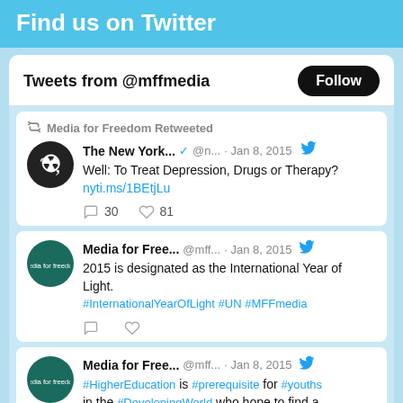Find us on Twitter
Tweets from @mffmedia
[Figure (screenshot): Retweet by Media for Freedom: The New York Times tweet, Jan 8 2015, 'Well: To Treat Depression, Drugs or Therapy? nyti.ms/1BEtjLu', 30 replies, 81 likes]
[Figure (screenshot): Media for Free... @mff... Jan 8, 2015: '2015 is designated as the International Year of Light. #InternationalYearOfLight #UN #MFFmedia']
[Figure (screenshot): Media for Free... @mff... Jan 8, 2015: '#HigherEducation is #prerequisite for #youths in the #DevelopingWorld who hope to find a']